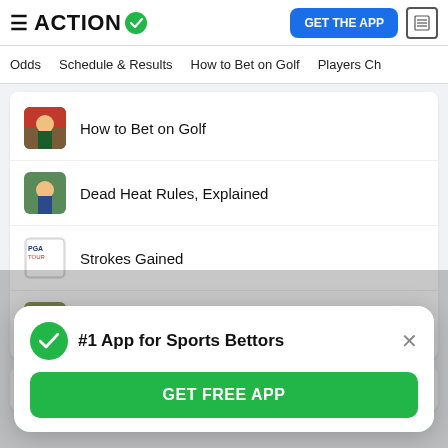ACTION #1 App for Sports Bettors
Odds
Schedule & Results
How to Bet on Golf
Players Ch
How to Bet on Golf
Dead Heat Rules, Explained
Strokes Gained
Each Way
Futures
#1 App for Sports Bettors
GET FREE APP